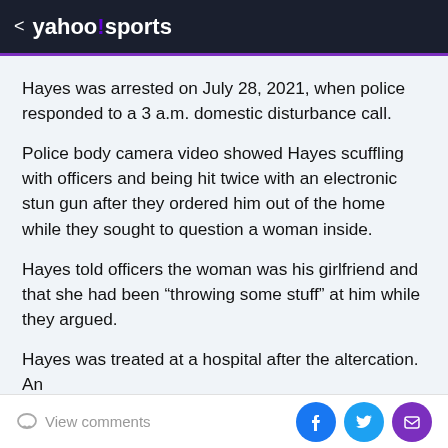< yahoo!sports
Hayes was arrested on July 28, 2021, when police responded to a 3 a.m. domestic disturbance call.
Police body camera video showed Hayes scuffling with officers and being hit twice with an electronic stun gun after they ordered him out of the home while they sought to question a woman inside.
Hayes told officers the woman was his girlfriend and that she had been “throwing some stuff” at him while they argued.
Hayes was treated at a hospital after the altercation. An
View comments